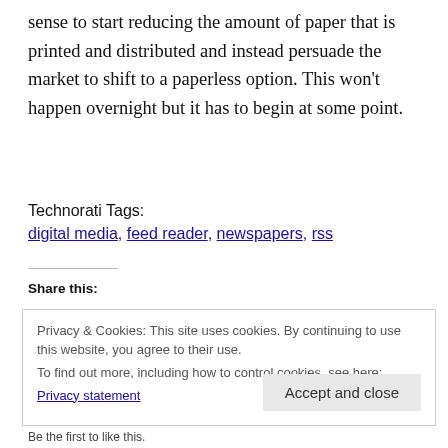sense to start reducing the amount of paper that is printed and distributed and instead persuade the market to shift to a paperless option. This won't happen overnight but it has to begin at some point.
Technorati Tags:
digital media, feed reader, newspapers, rss
Share this:
Privacy & Cookies: This site uses cookies. By continuing to use this website, you agree to their use.
To find out more, including how to control cookies, see here:
Privacy statement
Accept and close
Be the first to like this.